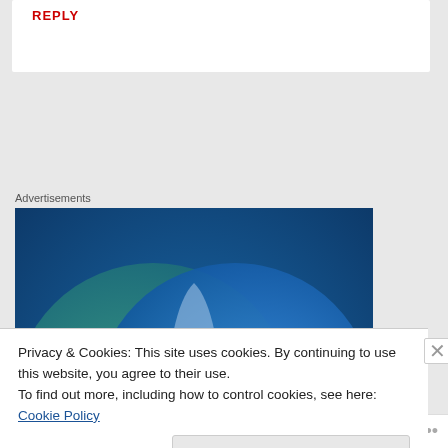REPLY
Advertisements
[Figure (infographic): Venn diagram with two overlapping circles on a blue-green gradient background. Left circle (teal/green) labeled 'Everything you need', right circle (blue) labeled 'Anything you want', overlapping center region in lighter blue/grey.]
Privacy & Cookies: This site uses cookies. By continuing to use this website, you agree to their use.
To find out more, including how to control cookies, see here: Cookie Policy
Close and accept
Follow